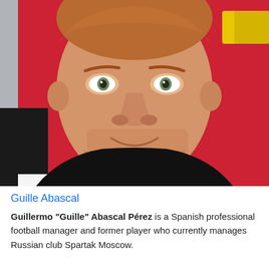[Figure (photo): Close-up photo of Guille Abascal, a man with reddish stubble wearing a black shirt, smiling, with a red and white blurred background]
Guille Abascal
Guillermo "Guille" Abascal Pérez is a Spanish professional football manager and former player who currently manages Russian club Spartak Moscow.